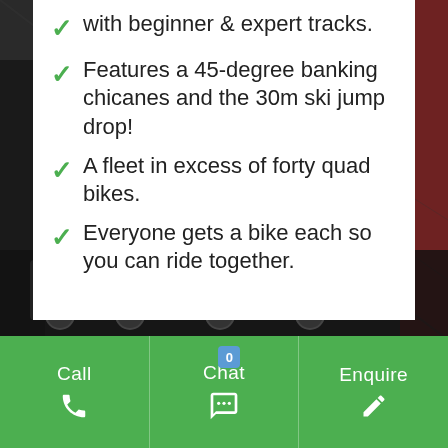A challenge for everyone, with beginner & expert tracks.
Features a 45-degree banking chicanes and the 30m ski jump drop!
A fleet in excess of forty quad bikes.
Everyone gets a bike each so you can ride together.
[Figure (photo): Dark background photo of people riding quad bikes]
Call  Chat  0  Enquire